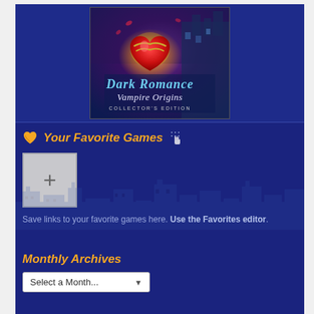[Figure (illustration): Game cover art for 'Dark Romance: Vampire Origins Collector's Edition' showing a glowing red heart wrapped in chains against a fantasy castle/city backdrop with purple and blue tones]
Your Favorite Games
[Figure (other): A grey square button with a plus (+) symbol, used as an add/favorites button]
Save links to your favorite games here. Use the Favorites editor.
Monthly Archives
Select a Month...